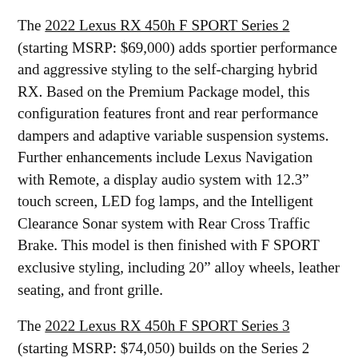The 2022 Lexus RX 450h F SPORT Series 2 (starting MSRP: $69,000) adds sportier performance and aggressive styling to the self-charging hybrid RX. Based on the Premium Package model, this configuration features front and rear performance dampers and adaptive variable suspension systems. Further enhancements include Lexus Navigation with Remote, a display audio system with 12.3" touch screen, LED fog lamps, and the Intelligent Clearance Sonar system with Rear Cross Traffic Brake. This model is then finished with F SPORT exclusive styling, including 20" alloy wheels, leather seating, and front grille.
The 2022 Lexus RX 450h F SPORT Series 3 (starting MSRP: $74,050) builds on the Series 2 model, adding a 15-speaker Mark Levinson Premium Audio system, power folding rear seats, power rear door with kick sensor, a panoramic glass roof, the panoramic view monitor, a Head Up Display, and a wireless charging system for personal electronics.
For more passenger-carrying capacity, Lexus offers the long-